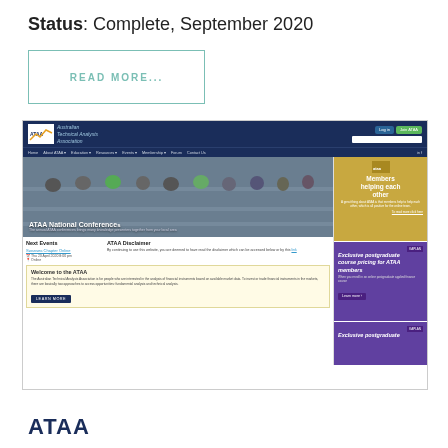Status: Complete, September 2020
READ MORE...
[Figure (screenshot): Screenshot of the Australian Technical Analysts Association (ATAA) website homepage showing navigation bar, hero conference image, Next Events section, ATAA Disclaimer, Welcome to the ATAA section, and sidebar cards for Members helping each other and Exclusive postgraduate course pricing for ATAA members.]
ATAA